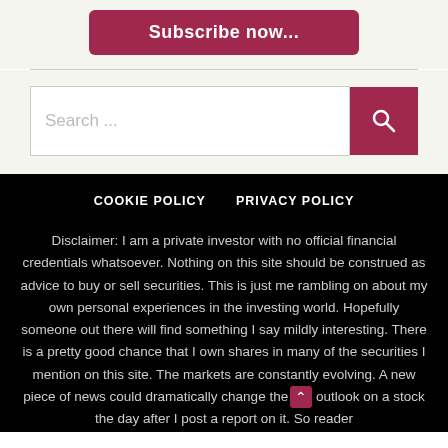Subscribe now...
Search ...
COOKIE POLICY   PRIVACY POLICY
Disclaimer: I am a private investor with no official financial credentials whatsoever. Nothing on this site should be construed as advice to buy or sell securities. This is just me rambling on about my own personal experiences in the investing world. Hopefully someone out there will find something I say mildly interesting. There is a pretty good chance that I own shares in many of the securities I mention on this site. The markets are constantly evolving. A new piece of news could dramatically change the outlook on a stock the day after I post a report on it. So reader